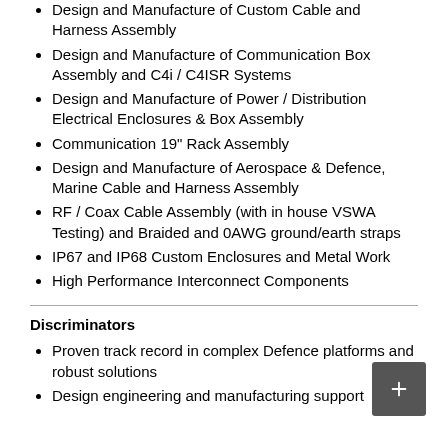Design and Manufacture of Custom Cable and Harness Assembly
Design and Manufacture of Communication Box Assembly and C4i / C4ISR Systems
Design and Manufacture of Power / Distribution Electrical Enclosures & Box Assembly
Communication 19" Rack Assembly
Design and Manufacture of Aerospace & Defence, Marine Cable and Harness Assembly
RF / Coax Cable Assembly (with in house VSWA Testing) and Braided and 0AWG ground/earth straps
IP67 and IP68 Custom Enclosures and Metal Work
High Performance Interconnect Components
Discriminators
Proven track record in complex Defence platforms and robust solutions
Design engineering and manufacturing support